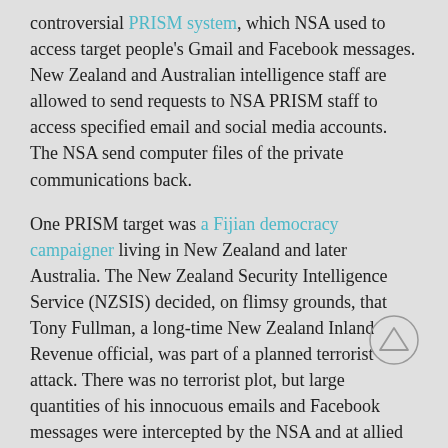controversial PRISM system, which NSA used to access target people's Gmail and Facebook messages. New Zealand and Australian intelligence staff are allowed to send requests to NSA PRISM staff to access specified email and social media accounts. The NSA send computer files of the private communications back.
One PRISM target was a Fijian democracy campaigner living in New Zealand and later Australia. The New Zealand Security Intelligence Service (NZSIS) decided, on flimsy grounds, that Tony Fullman, a long-time New Zealand Inland Revenue official, was part of a planned terrorist attack. There was no terrorist plot, but large quantities of his innocuous emails and Facebook messages were intercepted by the NSA and at allied facilities around the Pacific. They were later revealed among the Snowden documents.
The other growth areas of NSA-led interception are